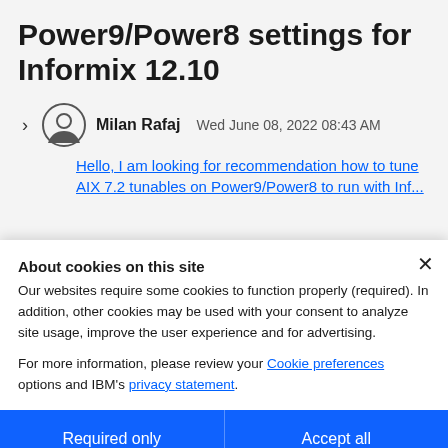Power9/Power8 settings for Informix 12.10
Milan Rafaj  Wed June 08, 2022 08:43 AM
Hello, I am looking for recommendation how to tune AIX 7.2 tunables on Power9/Power8 to run with Inf...
About cookies on this site
Our websites require some cookies to function properly (required). In addition, other cookies may be used with your consent to analyze site usage, improve the user experience and for advertising.

For more information, please review your Cookie preferences options and IBM's privacy statement.
Required only
Accept all